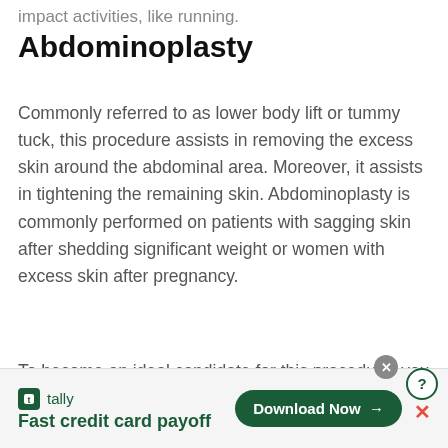impact activities, like running.
Abdominoplasty
Commonly referred to as lower body lift or tummy tuck, this procedure assists in removing the excess skin around the abdominal area. Moreover, it assists in tightening the remaining skin. Abdominoplasty is commonly performed on patients with sagging skin after shedding significant weight or women with excess skin after pregnancy.
To become an ideal candidate for this procedure, you
[Figure (screenshot): Tally app advertisement banner at the bottom of the page. Shows Tally logo with green icon, text 'Fast credit card payoff', and a 'Download Now' button in dark green with arrow. Also shows help (?) and close (X) icons.]